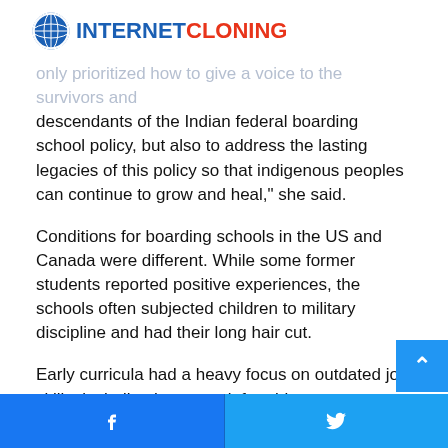INTERNET CLONING
...only prioritized how to give a voice to the survivors and descendants of the Indian federal boarding school policy, but also to address the lasting legacies of this policy so that indigenous peoples can continue to grow and heal," she said.
Conditions for boarding schools in the US and Canada were different. While some former students reported positive experiences, the schools often subjected children to military discipline and had their long hair cut.
Early curricula had a heavy focus on outdated job skills, including housework for girls.
Tribal leaders have urged the agency to ensure that any child remains found are properly treated and returned to their tribes...